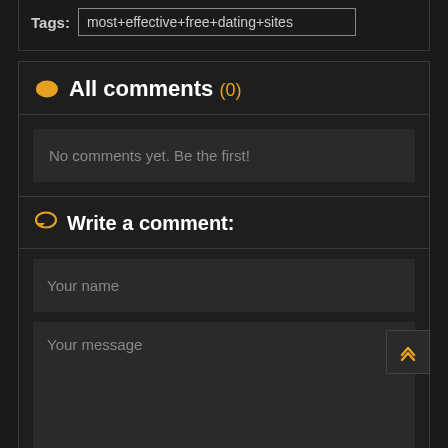Tags: most+effective+free+dating+sites
All comments (0)
No comments yet. Be the first!
Write a comment:
Your name
Your message
Send